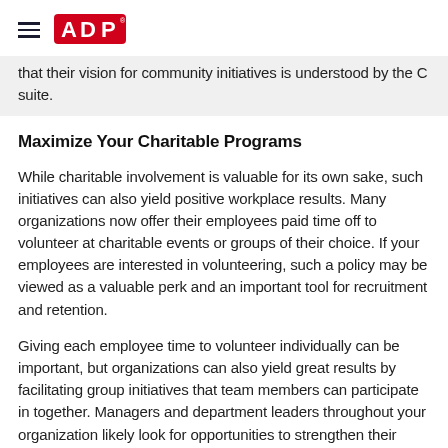ADP
that their vision for community initiatives is understood by the C suite.
Maximize Your Charitable Programs
While charitable involvement is valuable for its own sake, such initiatives can also yield positive workplace results. Many organizations now offer their employees paid time off to volunteer at charitable events or groups of their choice. If your employees are interested in volunteering, such a policy may be viewed as a valuable perk and an important tool for recruitment and retention.
Giving each employee time to volunteer individually can be important, but organizations can also yield great results by facilitating group initiatives that team members can participate in together. Managers and department leaders throughout your organization likely look for opportunities to strengthen their teams, so why not use charitable initiatives as team-building opportunities? Explore how the ADP Foundation offers grants to support the